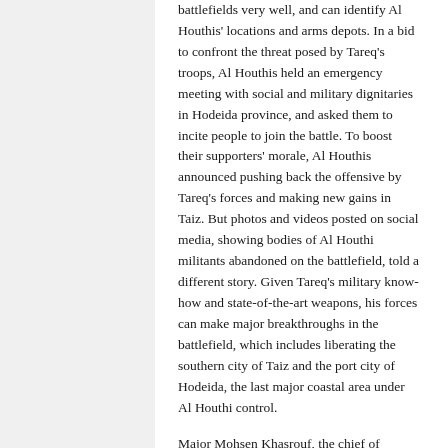battlefields very well, and can identify Al Houthis' locations and arms depots. In a bid to confront the threat posed by Tareq's troops, Al Houthis held an emergency meeting with social and military dignitaries in Hodeida province, and asked them to incite people to join the battle. To boost their supporters' morale, Al Houthis announced pushing back the offensive by Tareq's forces and making new gains in Taiz. But photos and videos posted on social media, showing bodies of Al Houthi militants abandoned on the battlefield, told a different story. Given Tareq's military know-how and state-of-the-art weapons, his forces can make major breakthroughs in the battlefield, which includes liberating the southern city of Taiz and the port city of Hodeida, the last major coastal area under Al Houthi control.
Major Mohsen Khasrouf, the chief of Yemen's Armed Forces' Moral Guidance Department, said on Sky News Arabia that escalating attacks on Al Houthis would lead to the breaking of